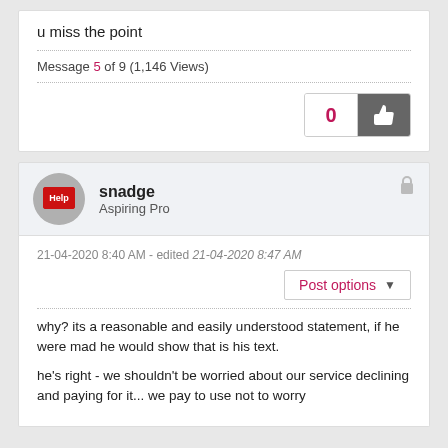u miss the point
Message 5 of 9 (1,146 Views)
snadge
Aspiring Pro
21-04-2020 8:40 AM - edited 21-04-2020 8:47 AM
Post options
why? its a reasonable and easily understood statement, if he were mad he would show that is his text.
he's right - we shouldn't be worried about our service declining and paying for it... we pay to use not to worry